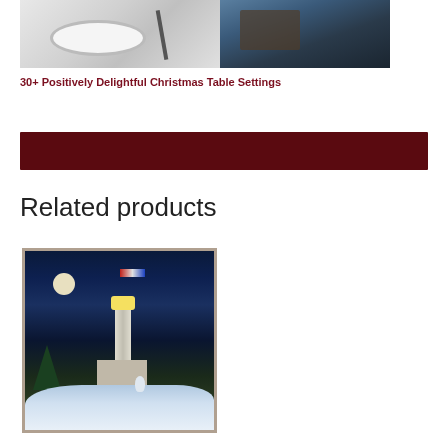[Figure (photo): Two photos side by side: left shows white plates and cutlery on a table setting, right shows a dark wood dining table]
30+ Positively Delightful Christmas Table Settings
[Figure (other): Dark maroon/burgundy horizontal banner bar]
Related products
[Figure (photo): Christmas lighthouse scene tapestry/blanket showing a snowy night scene with a lighthouse, house, snowman, reindeer, and moonlit sky]